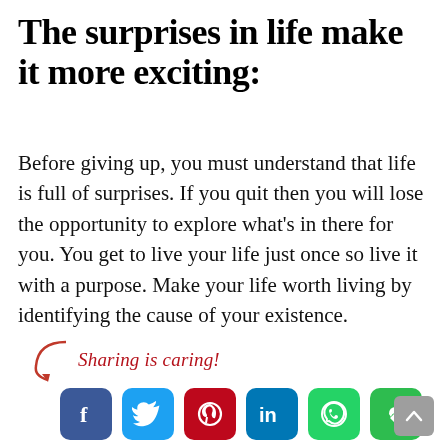The surprises in life make it more exciting:
Before giving up, you must understand that life is full of surprises. If you quit then you will lose the opportunity to explore what’s in there for you. You get to live your life just once so live it with a purpose. Make your life worth living by identifying the cause of your existence.
[Figure (infographic): Sharing is caring! label with red arrow and six social media icon buttons: Facebook (blue), Twitter (blue), Pinterest (red), LinkedIn (blue), WhatsApp (green), Share/refresh (green)]